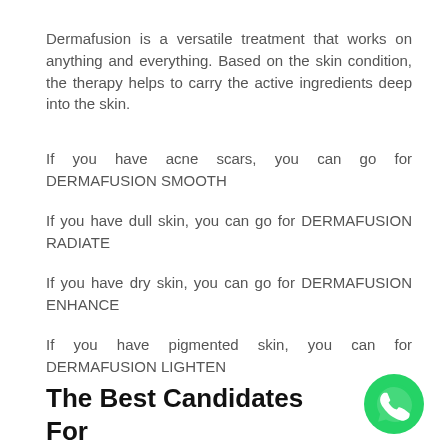Dermafusion is a versatile treatment that works on anything and everything. Based on the skin condition, the therapy helps to carry the active ingredients deep into the skin.
If you have acne scars, you can go for DERMAFUSION SMOOTH
If you have dull skin, you can go for DERMAFUSION RADIATE
If you have dry skin, you can go for DERMAFUSION ENHANCE
If you have pigmented skin, you can for DERMAFUSION LIGHTEN
The Best Candidates For Dermafusion Treatment
[Figure (logo): WhatsApp green circular chat button icon]